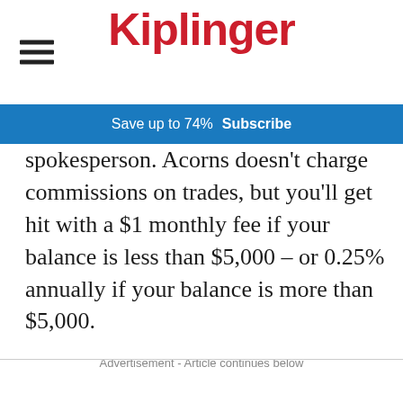Kiplinger
Save up to 74%  Subscribe
spokesperson. Acorns doesn't charge commissions on trades, but you'll get hit with a $1 monthly fee if your balance is less than $5,000 – or 0.25% annually if your balance is more than $5,000.
Advertisement - Article continues below